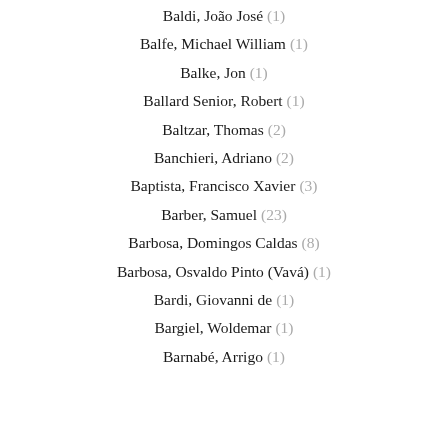Baldi, João José (1)
Balfe, Michael William (1)
Balke, Jon (1)
Ballard Senior, Robert (1)
Baltzar, Thomas (2)
Banchieri, Adriano (2)
Baptista, Francisco Xavier (3)
Barber, Samuel (23)
Barbosa, Domingos Caldas (8)
Barbosa, Osvaldo Pinto (Vavá) (1)
Bardi, Giovanni de (1)
Bargiel, Woldemar (1)
Barnabé, Arrigo (1)